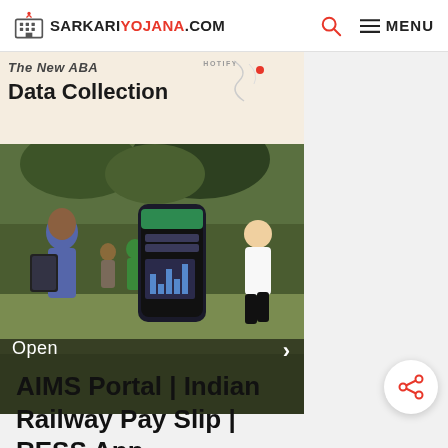SARKARIYOJANA.COM
[Figure (screenshot): Website screenshot showing SarkariYojana.com header with logo, search icon, and MENU button]
[Figure (photo): Advertisement banner for ABA Data Collection app with text 'The New ABA Data Collection' and HOTIFY logo. Below is a photo showing a woman with a tablet with children outdoors, a smartphone showing an app, and a woman jogging. 'Open' label and right-arrow button visible on the photo.]
[Figure (other): Share button (circular white button with share icon in red)]
AIMS Portal | Indian Railway Pay Slip | RESS App,